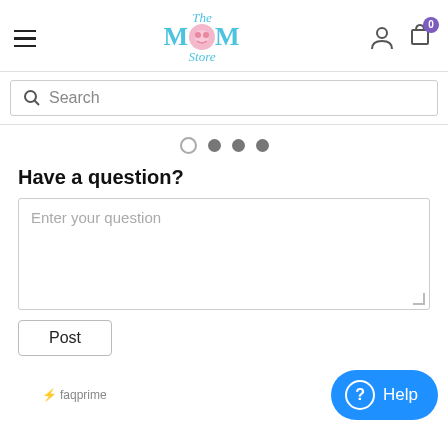[Figure (logo): The Mom Store logo with pink and teal colors, hamburger menu on left, user and cart icons on right]
Search
[Figure (infographic): Carousel indicator dots: one empty circle and three filled gray dots]
Have a question?
Enter your question
Post
⚡ faqprime
? Help